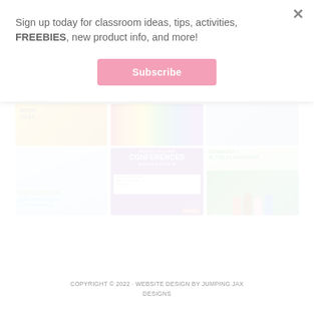Sign up today for classroom ideas, tips, activities, FREEBIES, new product info, and more!
Subscribe
[Figure (screenshot): Grid of six educational thumbnail images: witch/puzzles craft activity, colorful transparent tiles, person, child sewing/crafting with 'The Ultimate guide to setting up' text, Parent-Teacher Conferences Glow & Grow digital form, and community in the classroom with group of smiling children]
COPYRIGHT © 2022 · WEBSITE DESIGN BY JUMPING JAX DESIGNS